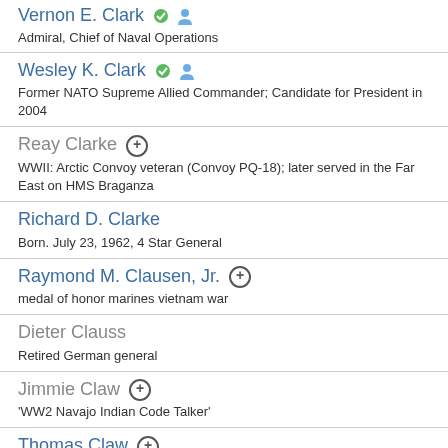Vernon E. Clark | Admiral, Chief of Naval Operations
Wesley K. Clark | Former NATO Supreme Allied Commander; Candidate for President in 2004
Reay Clarke | WWII: Arctic Convoy veteran (Convoy PQ-18); later served in the Far East on HMS Braganza
Richard D. Clarke | Born. July 23, 1962, 4 Star General
Raymond M. Clausen, Jr. | medal of honor marines vietnam war
Dieter Clauss | Retired German general
Jimmie Claw | 'WW2 Navajo Indian Code Talker'
Thomas Claw | 'WW2 Navajo Indian Code Talker'